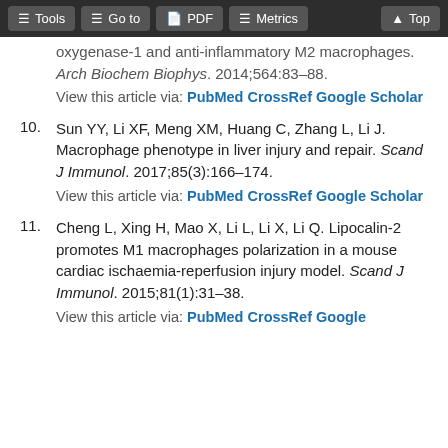Tools | Go to | PDF | Metrics | Top
oxygenase-1 and anti-inflammatory M2 macrophages. Arch Biochem Biophys. 2014;564:83–88.
View this article via: PubMed CrossRef Google Scholar
10. Sun YY, Li XF, Meng XM, Huang C, Zhang L, Li J. Macrophage phenotype in liver injury and repair. Scand J Immunol. 2017;85(3):166–174.
View this article via: PubMed CrossRef Google Scholar
11. Cheng L, Xing H, Mao X, Li L, Li X, Li Q. Lipocalin-2 promotes M1 macrophages polarization in a mouse cardiac ischaemia-reperfusion injury model. Scand J Immunol. 2015;81(1):31–38.
View this article via: PubMed CrossRef Google